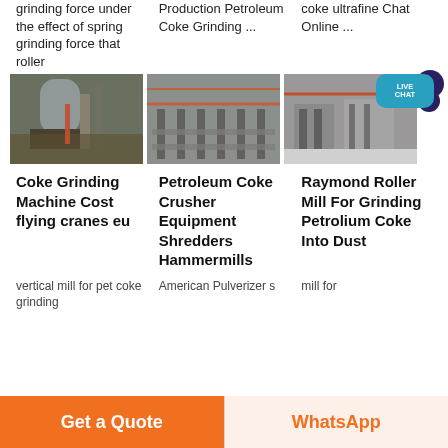grinding force under the effect of spring grinding force that roller
Production Petroleum Coke Grinding ...
coke ultrafine Chat Online ...
[Figure (photo): Industrial grinding/milling facility with large cylindrical equipment and steel structures]
[Figure (photo): Large industrial factory interior with multi-level steel framework and machinery]
[Figure (photo): Industrial plant interior with equipment and high ceiling structure]
Coke Grinding Machine Cost flying cranes eu
Petroleum Coke Crusher Equipment Shredders Hammermills
Raymond Roller Mill For Grinding Petrolium Coke Into Dust
vertical mill for pet coke grinding
American Pulverizer s
mill for
Get a Quote
WhatsApp